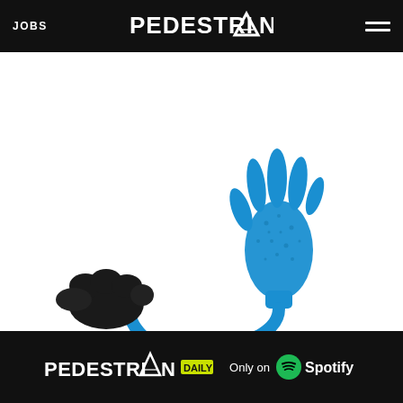JOBS  PEDESTRIAN  ☰
[Figure (photo): A blue sticky hand toy (gel slap bracelet hand) with fingers spread, connected by a curved blue cord to a black fist-shaped handle on a white background.]
[Figure (logo): Bottom banner: PEDESTRIAN DAILY logo with yellow DAILY badge, alongside text 'Only on' and the Spotify logo with green circle icon on black background.]